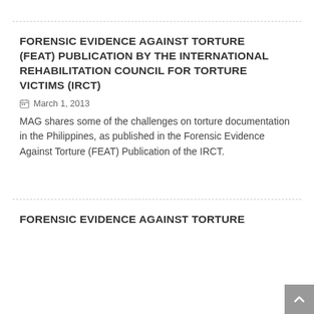FORENSIC EVIDENCE AGAINST TORTURE (FEAT) PUBLICATION BY THE INTERNATIONAL REHABILITATION COUNCIL FOR TORTURE VICTIMS (IRCT)
March 1, 2013
MAG shares some of the challenges on torture documentation in the Philippines, as published in the Forensic Evidence Against Torture (FEAT) Publication of the IRCT.
FORENSIC EVIDENCE AGAINST TORTURE